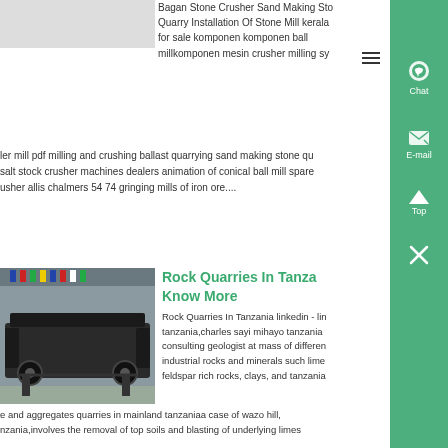Bagan Stone Crusher Sand Making Stone Quarry Installation Of Stone Mill kerala for sale komponen komponen ball millkomponen mesin crusher milling sy ler mill pdf milling and crushing ballast quarrying sand making stone qu salt stock crusher machines dealers animation of conical ball mill spare usher allis chalmers 54 74 gringing mills of iron ore....
[Figure (photo): Industrial mining/crushing machine in a large hall with flags in background]
Rock Quarries In Tanzania Know More
Rock Quarries In Tanzania linkedin - lin tanzania,charles sayi mihayo tanzania consulting geologist at mass of differen industrial rocks and minerals such lime feldspar rich rocks, clays, and tanzania e and aggregates quarries in mainland tanzaniaa case of wazo hill, nzania,involves the removal of top soils and blasting of underlying limes